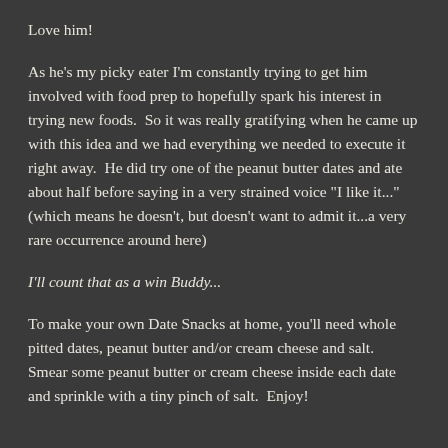Love him!
As he's my picky eater I'm constantly trying to get him involved with food prep to hopefully spark his interest in trying new foods.  So it was really gratifying when he came up with this idea and we had everything we needed to execute it right away.  He did try one of the peanut butter dates and ate about half before saying in a very strained voice "I like it..." (which means he doesn't, but doesn't want to admit it...a very rare occurrence around here)
I'll count that as a win Buddy...
To make your own Date Snacks at home, you'll need whole pitted dates, peanut butter and/or cream cheese and salt.  Smear some peanut butter or cream cheese inside each date and sprinkle with a tiny pinch of salt.  Enjoy!